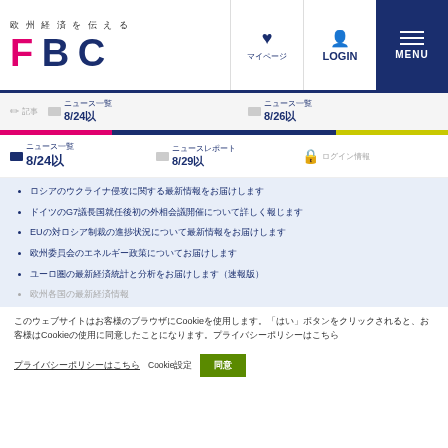[Figure (logo): FBC logo with tagline 欧州経済を伝える and navigation icons including LOGIN and MENU]
[Figure (infographic): Colored horizontal bar: pink, navy, yellow]
ニュース一覧 8/24以 | ニュース一覧 8/26以
ニュース一覧 8/24以 | ニュース一覧 8/29以 | ロック済み
ロシアのウクライナ侵攻に関する最新情報をお届けします
ドイツのG7議長国就任後初の外相会議開催について詳しく報じます
EUの対ロシア制裁の進捗状況について最新情報をお届けします
欧州委員会のエネルギー政策についてお届けします
ユーロ圏の最新経済統計と分析をお届けします（速報版）
欧州各国の最新経済情報
このウェブサイトはお客様のCookieを使用して「はい」ボタンをクリックされると、お客様はCookieの使用に同意したことになります。プライバシーポリシーはこちら
プライバシーポリシーはこちら　Cookie設定　同意